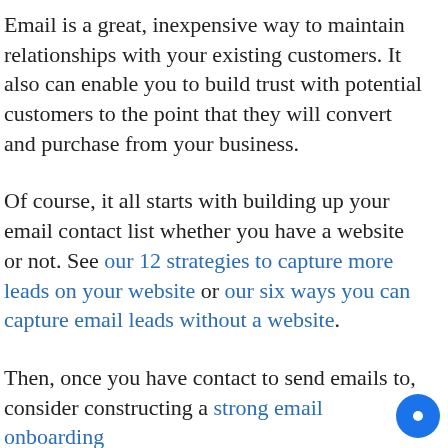Email is a great, inexpensive way to maintain relationships with your existing customers. It also can enable you to build trust with potential customers to the point that they will convert and purchase from your business.
Of course, it all starts with building up your email contact list whether you have a website or not. See our 12 strategies to capture more leads on your website or our six ways you can capture email leads without a website.
Then, once you have contact to send emails to, consider constructing a strong email onboarding...